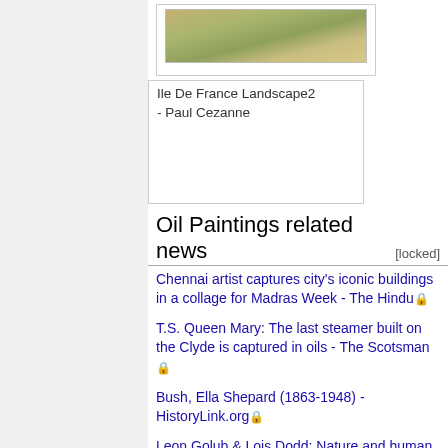[Figure (photo): Painting thumbnail: Ile De France Landscape2 by Paul Cezanne]
Ile De France Landscape2 - Paul Cezanne
Oil Paintings related news
Chennai artist captures city's iconic buildings in a collage for Madras Week - The Hindu 🔒
T.S. Queen Mary: The last steamer built on the Clyde is captured in oils - The Scotsman 🔒
Bush, Ella Shepard (1863-1948) - HistoryLink.org 🔒
Leon Golub & Lois Dodd: Nature and human nature at Hall Art - Rutland Herald 🔒
French-Maltese artist exhibiting at the MSA - Times of Malta 🔒